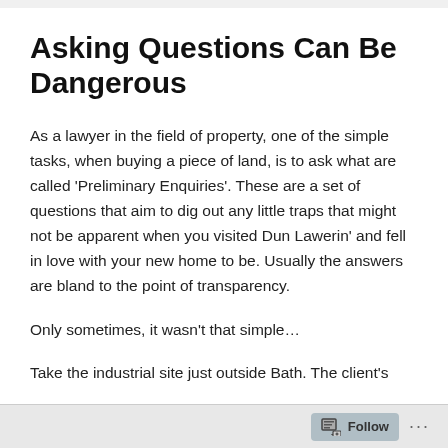Asking Questions Can Be Dangerous
As a lawyer in the field of property, one of the simple tasks, when buying a piece of land, is to ask what are called 'Preliminary Enquiries'. These are a set of questions that aim to dig out any little traps that might not be apparent when you visited Dun Lawerin' and fell in love with your new home to be. Usually the answers are bland to the point of transparency.
Only sometimes, it wasn't that simple…
Take the industrial site just outside Bath. The client's
Follow